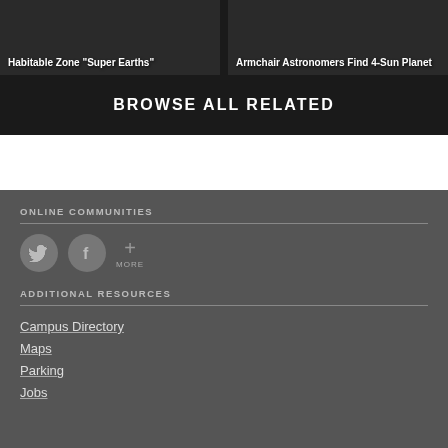[Figure (photo): Thumbnail card with title: Habitable Zone "Super Earths"]
[Figure (photo): Thumbnail card with title: Armchair Astronomers Find 4-Sun Planet]
BROWSE ALL RELATED
ONLINE COMMUNITIES
[Figure (logo): Twitter icon (bird), Facebook icon (f), and MORE (+) button]
ADDITIONAL RESOURCES
Campus Directory
Maps
Parking
Jobs